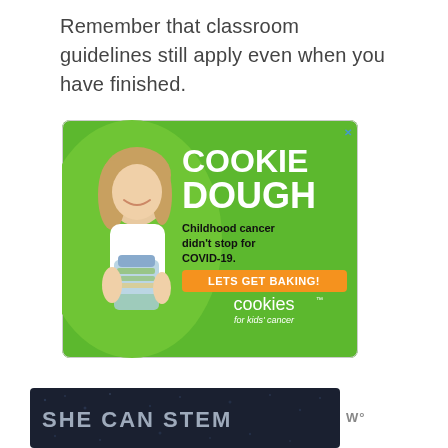Remember that classroom guidelines still apply even when you have finished.
[Figure (photo): Advertisement for Cookies for Kids' Cancer fundraiser featuring a young girl holding a jar of money on a green background. Text reads: COOKIE DOUGH, Childhood cancer didn't stop for COVID-19. LETS GET BAKING! cookies for kids' cancer]
[Figure (screenshot): Dark banner advertisement showing text SHE CAN STEM with scattered dot texture and a W logo mark in the upper right]